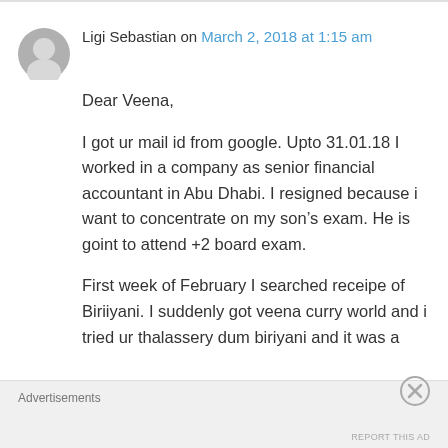Ligi Sebastian on March 2, 2018 at 1:15 am
Dear Veena,

I got ur mail id from google. Upto 31.01.18 I worked in a company as senior financial accountant in Abu Dhabi. I resigned because i want to concentrate on my son's exam. He is goint to attend +2 board exam.

First week of February I searched receipe of Biriiyani. I suddenly got veena curry world and i tried ur thalassery dum biriyani and it was a
Advertisements